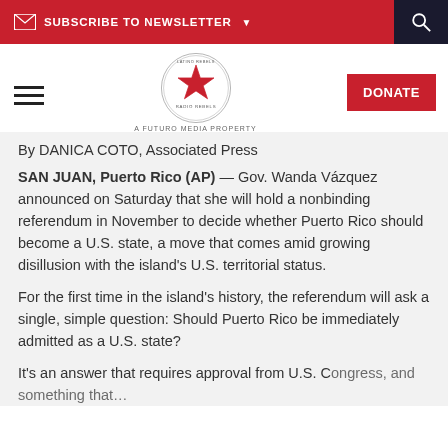SUBSCRIBE TO NEWSLETTER
[Figure (logo): Latino Rebels / Radio Ambulante logo — circular badge with red star, A Futuro Media Property]
By DANICA COTO, Associated Press
SAN JUAN, Puerto Rico (AP) — Gov. Wanda Vázquez announced on Saturday that she will hold a nonbinding referendum in November to decide whether Puerto Rico should become a U.S. state, a move that comes amid growing disillusion with the island's U.S. territorial status.
For the first time in the island's history, the referendum will ask a single, simple question: Should Puerto Rico be immediately admitted as a U.S. state?
It's an answer that requires approval from U.S. Congress, and something that…